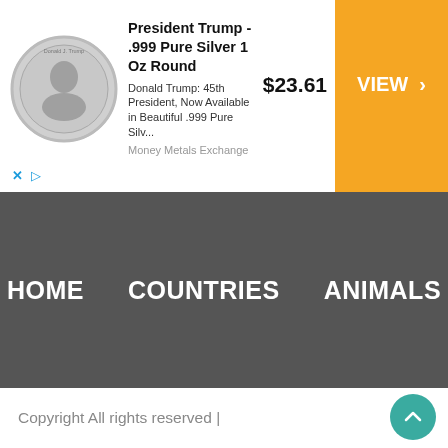[Figure (other): Advertisement banner: President Trump .999 Pure Silver 1 Oz Round coin ad with image of silver coin, price $23.61, and orange VIEW button. Money Metals Exchange.]
irrels Off?
Brian Arbogast   May 5, 2022
HOME   COUNTRIES   ANIMALS
Copyright All rights reserved |